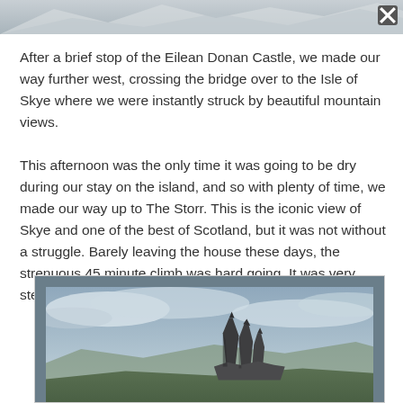[Figure (photo): Partial top image, grey/light tones landscape or sky, cropped at top of page]
After a brief stop of the Eilean Donan Castle, we made our way further west, crossing the bridge over to the Isle of Skye where we were instantly struck by beautiful mountain views.
This afternoon was the only time it was going to be dry during our stay on the island, and so with plenty of time, we made our way up to The Storr. This is the iconic view of Skye and one of the best of Scotland, but it was not without a struggle. Barely leaving the house these days, the strenuous 45 minute climb was hard going. It was very steep and only I made it to the top.
[Figure (photo): Photograph of The Storr rock formation on the Isle of Skye, tall jagged dark rock pinnacles against a cloudy grey-blue sky, green hillside in foreground]